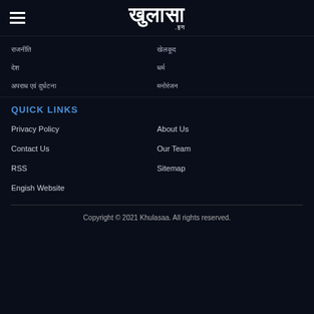खुलासा .इन — Hamburger menu and logo header
राजनीति (navigation item)
देश
अपराध एवं दुर्घटना
खेलकूद
धर्म
मनोरंजन
QUICK LINKS
Privacy Policy
About Us
Contact Us
Our Team
RSS
Sitemap
Engish Website
Copyright © 2021 Khulasaa. All rights reserved.